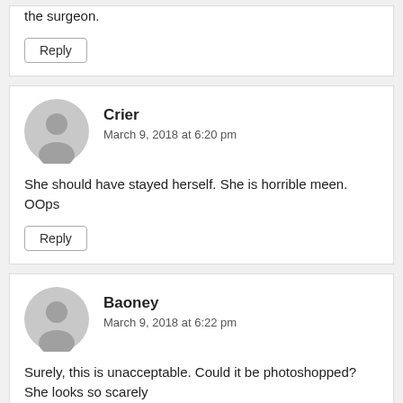the surgeon.
Reply
Crier
March 9, 2018 at 6:20 pm
She should have stayed herself. She is horrible meen. OOps
Reply
Baoney
March 9, 2018 at 6:22 pm
Surely, this is unacceptable. Could it be photoshopped? She looks so scarely